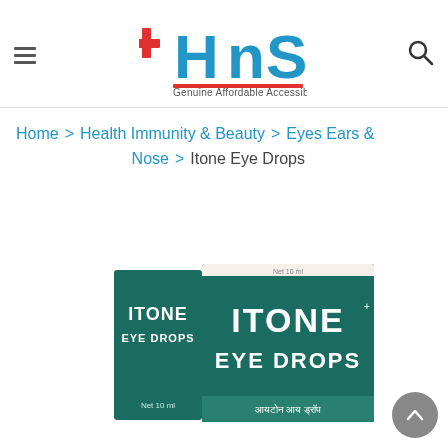HnS – Genuine Affordable Accessible
Home > Health Immunity & Beauty > Eyes Ears & Nose > Itone Eye Drops
[Figure (photo): Product photo of Itone Eye Drops box – teal/dark green packaging with white text reading ITONE EYE DROPS, shown with both the side panel and front face of the box visible]